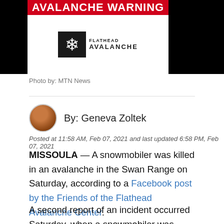[Figure (photo): Avalanche Warning banner with Flathead Avalanche logo on black background with red bar]
Photo by: MTN News
By: Geneva Zoltek
Posted at 11:58 AM, Feb 07, 2021 and last updated 6:58 PM, Feb 07, 2021
MISSOULA — A snowmobiler was killed in an avalanche in the Swan Range on Saturday, according to a Facebook post by the Friends of the Flathead Avalanche Center.
A second report of an incident occurred Saturday, when a snowmobiler was caught and carried, but not